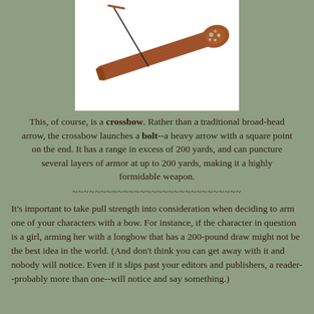[Figure (photo): A decorative wooden crossbow with ornate metalwork, shown at an angle against a white background.]
This, of course, is a crossbow. Rather than a traditional broad-head arrow, the crossbow launches a bolt--a heavy arrow with a square point on the end. It has a range in excess of 200 yards, and can puncture several layers of armor at up to 200 yards, making it a highly formidable weapon.
~~~~~~~~~~~~~~~~~~~~~~~~~~~~~~~~~
It's important to take pull strength into consideration when deciding to arm one of your characters with a bow. For instance, if the character in question is a girl, arming her with a longbow that has a 200-pound draw might not be the best idea in the world. (And don't think you can get away with it and nobody will notice. Even if it slips past your editors and publishers, a reader--probably more than one--will notice and say something.)